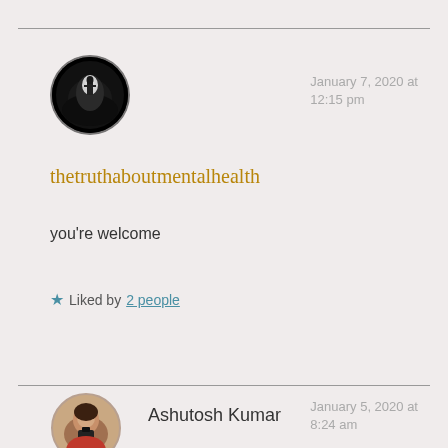[Figure (photo): Circular avatar image with dark background showing a silhouetted figure in a tunnel/doorway with light]
thetruthaboutmentalhealth
January 7, 2020 at 12:15 pm
you're welcome
Liked by 2 people
[Figure (photo): Circular avatar photo of a woman (Ashutosh Kumar) holding a camera]
Ashutosh Kumar
January 5, 2020 at 8:24 am